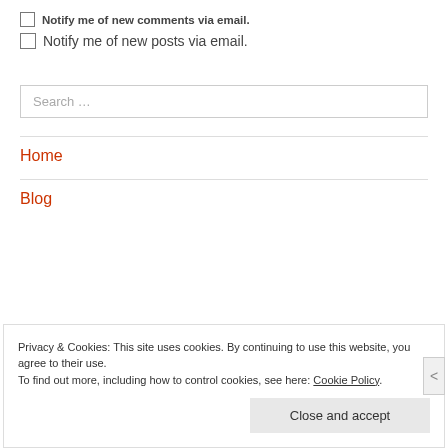Notify me of new comments via email.
Notify me of new posts via email.
Search …
Home
Blog
Privacy & Cookies: This site uses cookies. By continuing to use this website, you agree to their use. To find out more, including how to control cookies, see here: Cookie Policy
Close and accept